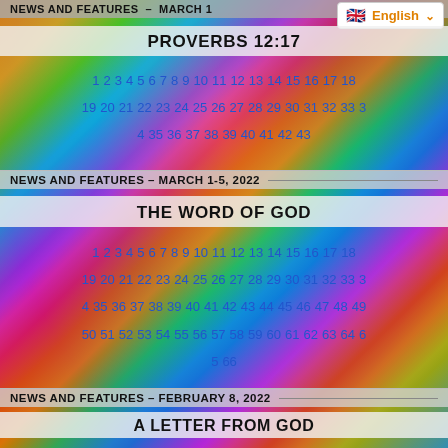NEWS AND FEATURES — MARCH 1
English
PROVERBS 12:17
1 2 3 4 5 6 7 8 9 10 11 12 13 14 15 16 17 18 19 20 21 22 23 24 25 26 27 28 29 30 31 32 33 3 4 35 36 37 38 39 40 41 42 43
NEWS AND FEATURES – MARCH 1-5, 2022
THE WORD OF GOD
1 2 3 4 5 6 7 8 9 10 11 12 13 14 15 16 17 18 19 20 21 22 23 24 25 26 27 28 29 30 31 32 33 3 4 35 36 37 38 39 40 41 42 43 44 45 46 47 48 49 50 51 52 53 54 55 56 57 58 59 60 61 62 63 64 6 5 66
NEWS AND FEATURES – FEBRUARY 8, 2022
A LETTER FROM GOD